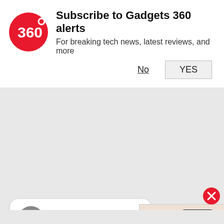[Figure (screenshot): Gadgets 360 notification subscription banner with red circular logo showing '360', bold title 'Subscribe to Gadgets 360 alerts', subtitle 'For breaking tech news, latest reviews, and more', and two buttons: 'No' (underlined) and 'YES' (outlined button)]
[Figure (screenshot): Twitter/X post by Samuel Thiong'o (@samuelthiong_o) with Follow button. Tweet text reads 'Now he's the Second Most r... billionaire and The man changing the'. Overlaid with an ad showing a smartphone and a red play button.]
Subscribe to Gadgets 360 alerts
For breaking tech news, latest reviews, and more
No
YES
Samuel Thiong'o
@samuelthiong_o · Follow
Now he's the Second Most r billionaire and The man changing the